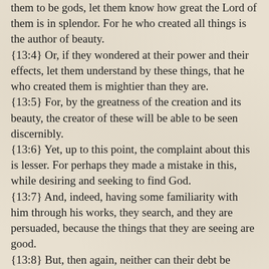them to be gods, let them know how great the Lord of them is in splendor. For he who created all things is the author of beauty.
{13:4} Or, if they wondered at their power and their effects, let them understand by these things, that he who created them is mightier than they are.
{13:5} For, by the greatness of the creation and its beauty, the creator of these will be able to be seen discernibly.
{13:6} Yet, up to this point, the complaint about this is lesser. For perhaps they made a mistake in this, while desiring and seeking to find God.
{13:7} And, indeed, having some familiarity with him through his works, they search, and they are persuaded, because the things that they are seeing are good.
{13:8} But, then again, neither can their debt be ignored.
{13:9} For, if they were able to know enough so that they could value the universe, how is it they did not easily discover the Lord of it?
{13:10} Yet they are unhappy, and their hope is among the